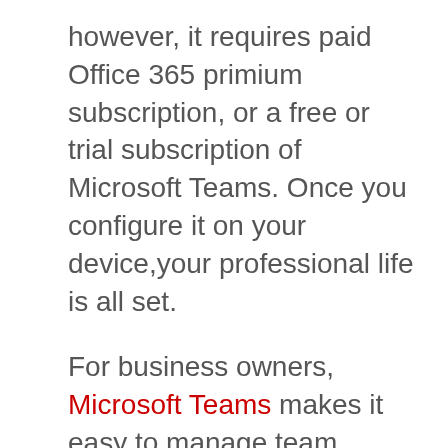however, it requires paid Office 365 primium subscription, or a free or trial subscription of Microsoft Teams. Once you configure it on your device,your professional life is all set.
For business owners, Microsoft Teams makes it easy to manage team conversations, files, meetings and much more – everything in a single shared workspace.